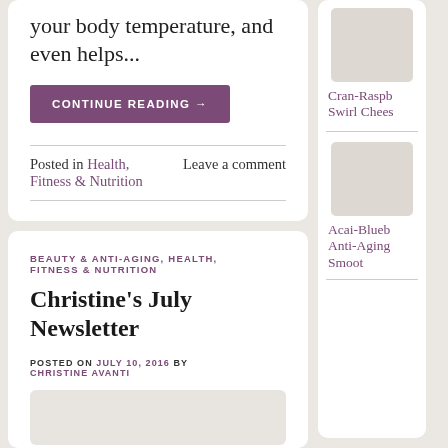your body temperature, and even helps...
CONTINUE READING →
Posted in Health, Fitness & Nutrition    Leave a comment
BEAUTY & ANTI-AGING, HEALTH, FITNESS & NUTRITION
Christine's July Newsletter
POSTED ON JULY 10, 2016 BY CHRISTINE AVANTI
[Figure (photo): Thumbnail image placeholder for Cran-Raspberry Swirl Cheesecake]
Cran-Raspb Swirl Chees
[Figure (photo): Thumbnail image placeholder for Acai-Blueberry Anti-Aging Smoothie]
Acai-Blueb Anti-Aging Smoot